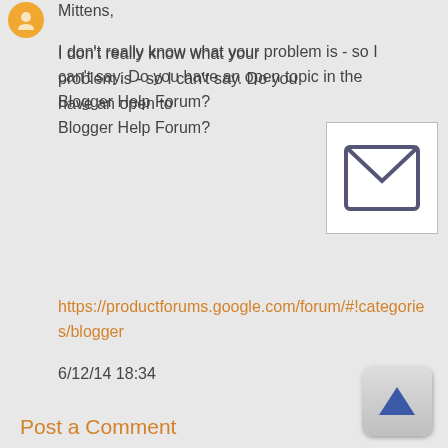Mittens,
I don't really know what your problem is - so I can't say. Do you have an open topic in the Blogger Help Forum?
https://productforums.google.com/forum/#!categories/blogger
6/12/14 18:34
Post a Comment
[Figure (illustration): Email envelope icon - a square with envelope/letter symbol]
[Figure (illustration): Scroll to top button - rounded square button with blue upward triangle arrow]